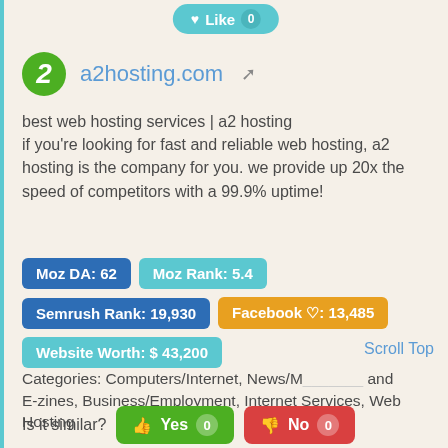[Figure (other): Like button with heart icon and count badge showing 0]
[Figure (logo): a2hosting.com logo — green circle with '2', site name 'a2hosting.com', and external link icon]
best web hosting services | a2 hosting if you're looking for fast and reliable web hosting, a2 hosting is the company for you. we provide up 20x the speed of competitors with a 99.9% uptime!
Moz DA: 62  Moz Rank: 5.4  Semrush Rank: 19,930  Facebook ♡: 13,485  Website Worth: $ 43,200
Scroll Top
Categories: Computers/Internet, News/Magazines and E-zines, Business/Employment, Internet Services, Web Hosting
Is it similar?  Yes 0  No 0